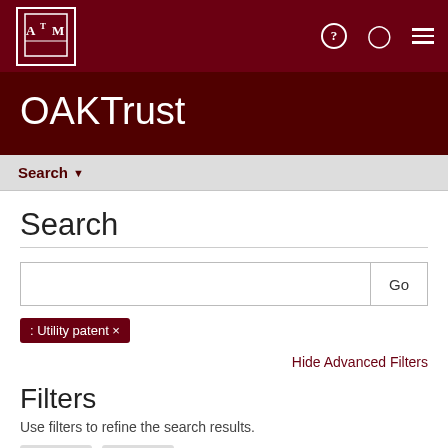ATM OAKTrust navigation bar with help, user, and menu icons
OAKTrust
Search ▾
Search
: Utility patent ×
Hide Advanced Filters
Filters
Use filters to refine the search results.